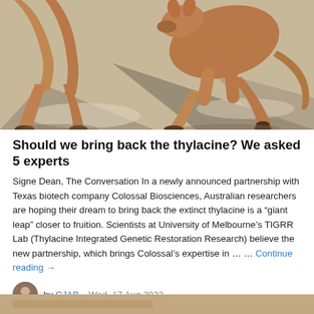[Figure (photo): Close-up photo of a kangaroo (or thylacine-like marsupial) walking on a light stone/concrete surface, viewed from the side showing legs and lower body, warm brown tones with shadows.]
Should we bring back the thylacine? We asked 5 experts
Signe Dean, The Conversation In a newly announced partnership with Texas biotech company Colossal Biosciences, Australian researchers are hoping their dream to bring back the extinct thylacine is a “giant leap” closer to fruition. Scientists at University of Melbourne’s TIGRR Lab (Thylacine Integrated Genetic Restoration Research) believe the new partnership, which brings Colossal’s expertise in … … Continue reading →
by CJAB   Wed, 17 Aug 2022